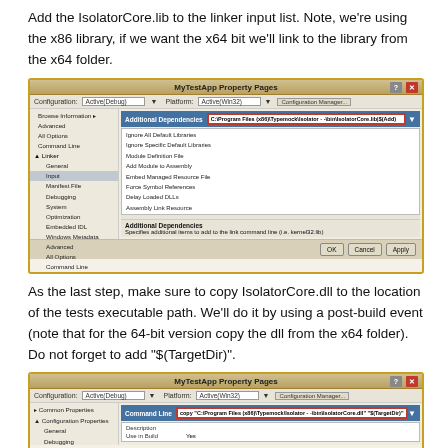Add the IsolatorCore.lib to the linker input list. Note, we're using the x86 library, if we want the x64 bit we'll link to the library from the x64 folder.
[Figure (screenshot): MyTestApp Property Pages dialog showing Linker > Input > Additional Dependencies with value C:\Program Files (x86)\Typemock\Isolator - -\bin\IsolatorCore.lib|$(Add)]
As the last step, make sure to copy IsolatorCore.dll to the location of the tests executable path. We'll do it by using a post-build event (note that for the 64-bit version copy the dll from the x64 folder). Do not forget to add "$(TargetDir)".
[Figure (screenshot): MyTestApp Property Pages dialog showing Build Events > Post-Build Event > Command Line with value: copy "C:\Program Files (x86)\Typemock\Isolator - -\bin\IsolatorCore.dll" "$(TargetDir)"]